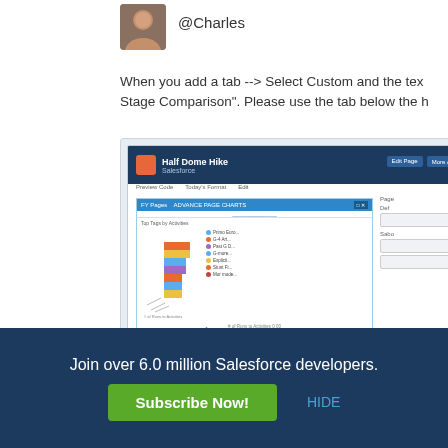[Figure (photo): User avatar photo of a man]
@Charles
When you add a tab --> Select Custom and the tex... Stage Comparison". Please use the tab below the h...
[Figure (screenshot): Screenshot of a Salesforce app page showing Half Dome Hike with a stacked bar chart visualization]
July 31, 2016 · 👍 1 · 👎 0
[Figure (photo): User avatar for Charles Cummings 7]
Charles Cummings 7
Join over 6.0 million Salesforce developers.
Subscribe Now!
HIDE